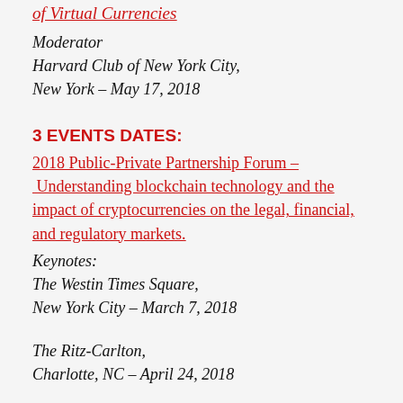of Virtual Currencies
Moderator
Harvard Club of New York City,
New York – May 17, 2018
3 EVENTS DATES:
2018 Public-Private Partnership Forum – Understanding blockchain technology and the impact of cryptocurrencies on the legal, financial, and regulatory markets.
Keynotes:
The Westin Times Square,
New York City – March 7, 2018
The Ritz-Carlton,
Charlotte, NC – April 24, 2018
The Mayflower Hotel,